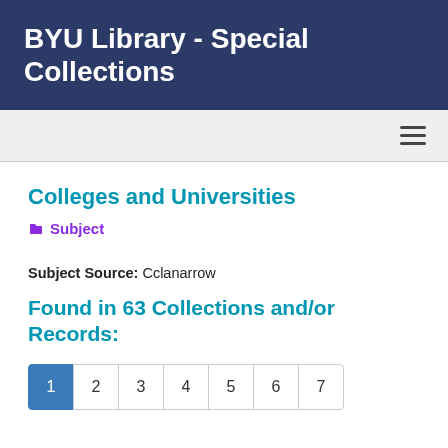BYU Library - Special Collections
Colleges and Universities
Subject
Subject Source: Cclanarrow
Found in 63 Collections and/or Records:
1 2 3 4 5 6 7